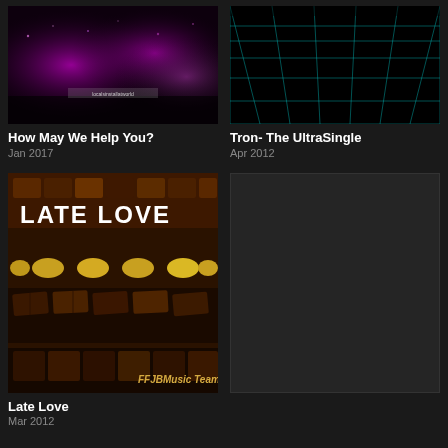[Figure (photo): Dark concert/music album cover with purple and magenta stage lighting effects and a small banner text at bottom]
How May We Help You?
Jan 2017
[Figure (photo): Tron-style album cover with dark background and cyan/teal glowing grid lines forming a perspective grid pattern]
Tron- The UltraSingle
Apr 2012
[Figure (photo): Late Love album cover showing assorted chocolates piled together with 'LATE LOVE' text at top and 'FFJBMusic Team' branding at bottom]
Late Love
Mar 2012
[Figure (other): Empty dark grey placeholder box]